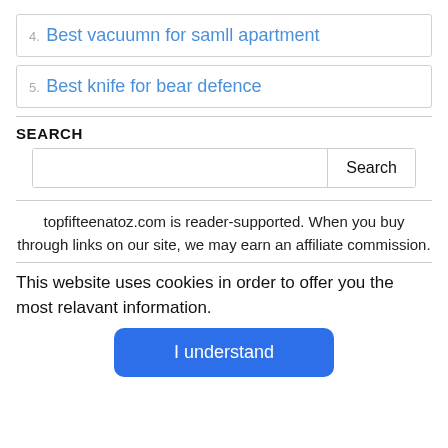4. Best vacuumn for samll apartment
5. Best knife for bear defence
SEARCH
topfifteenatoz.com is reader-supported. When you buy through links on our site, we may earn an affiliate commission.
This website uses cookies in order to offer you the most relavant information.
I understand